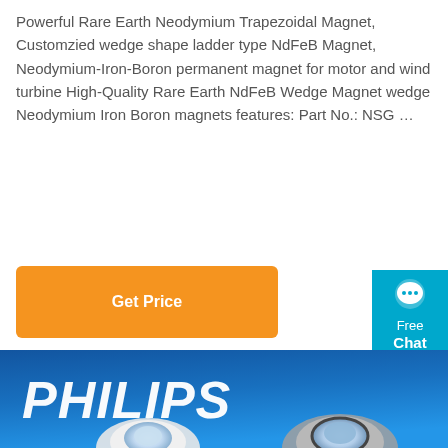Powerful Rare Earth Neodymium Trapezoidal Magnet, Customzied wedge shape ladder type NdFeB Magnet, Neodymium-Iron-Boron permanent magnet for motor and wind turbine High-Quality Rare Earth NdFeB Wedge Magnet wedge Neodymium Iron Boron magnets features: Part No.: NSG …
[Figure (other): Orange 'Get Price' button]
[Figure (other): Teal 'Free Chat' button with chat bubble icon on the right side]
[Figure (photo): Philips branded product image showing two recessed LED downlight fixtures (one white, one brushed nickel/silver) on a blue gradient background with PHILIPS logo in white italic bold text]